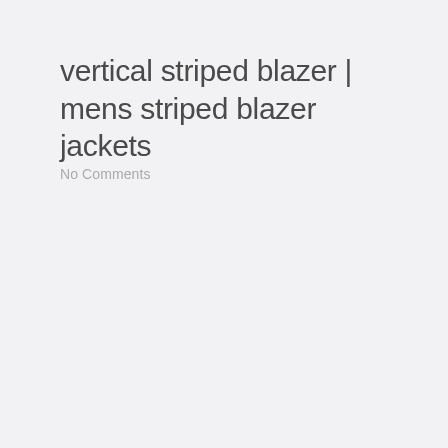vertical striped blazer | mens striped blazer jackets
No Comments